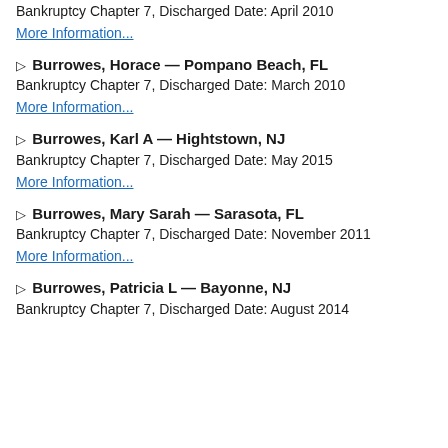Bankruptcy Chapter 7, Discharged Date: April 2010
More Information...
▷ Burrowes, Horace — Pompano Beach, FL
Bankruptcy Chapter 7, Discharged Date: March 2010
More Information...
▷ Burrowes, Karl A — Hightstown, NJ
Bankruptcy Chapter 7, Discharged Date: May 2015
More Information...
▷ Burrowes, Mary Sarah — Sarasota, FL
Bankruptcy Chapter 7, Discharged Date: November 2011
More Information...
▷ Burrowes, Patricia L — Bayonne, NJ
Bankruptcy Chapter 7, Discharged Date: August 2014